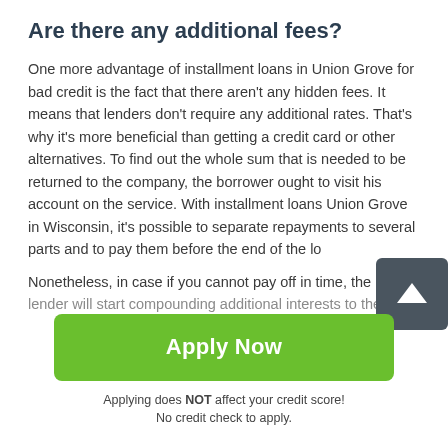Are there any additional fees?
One more advantage of installment loans in Union Grove for bad credit is the fact that there aren't any hidden fees. It means that lenders don't require any additional rates. That's why it's more beneficial than getting a credit card or other alternatives. To find out the whole sum that is needed to be returned to the company, the borrower ought to visit his account on the service. With installment loans Union Grove in Wisconsin, it's possible to separate repayments to several parts and to pay them before the end of the lo…
Nonetheless, in case if you cannot pay off in time, the lender will start compounding additional interests to the…
[Figure (other): Dark grey square button with upward-pointing white arrow, used as a scroll-to-top button]
Apply Now
Applying does NOT affect your credit score!
No credit check to apply.